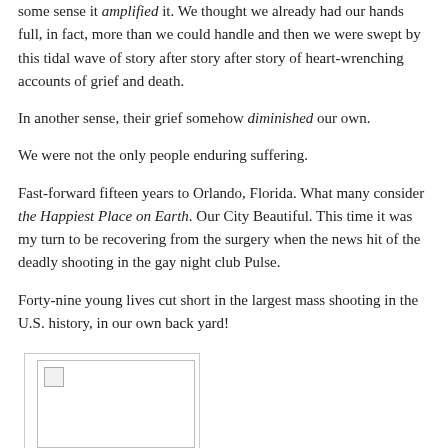some sense it amplified it. We thought we already had our hands full, in fact, more than we could handle and then we were swept by this tidal wave of story after story after story of heart-wrenching accounts of grief and death.
In another sense, their grief somehow diminished our own.
We were not the only people enduring suffering.
Fast-forward fifteen years to Orlando, Florida. What many consider the Happiest Place on Earth. Our City Beautiful. This time it was my turn to be recovering from the surgery when the news hit of the deadly shooting in the gay night club Pulse.
Forty-nine young lives cut short in the largest mass shooting in the U.S. history, in our own back yard!
[Figure (photo): A photo (broken image placeholder visible) within a bordered box]